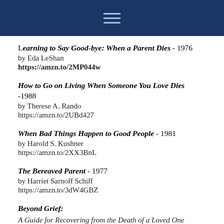☰
Learning to Say Good-bye: When a Parent Dies - 1976
by Eda LeShan
https://amzn.to/2MP044w
How to Go on Living When Someone You Love Dies -1988
by Therese A. Rando
https://amzn.to/2UBd427
When Bad Things Happen to Good People - 1981
by Harold S. Kushner
https://amzn.to/2XX3BnL
The Bereaved Parent - 1977
by Harriet Sarnoff Schiff
https://amzn.to/3dW4GBZ
Beyond Grief:
A Guide for Recovering from the Death of a Loved One